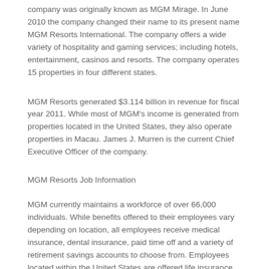company was originally known as MGM Mirage. In June 2010 the company changed their name to its present name MGM Resorts International. The company offers a wide variety of hospitality and gaming services; including hotels, entertainment, casinos and resorts. The company operates 15 properties in four different states.
MGM Resorts generated $3.114 billion in revenue for fiscal year 2011. While most of MGM's income is generated from properties located in the United States, they also operate properties in Macau. James J. Murren is the current Chief Executive Officer of the company.
MGM Resorts Job Information
MGM currently maintains a workforce of over 66,000 individuals. While benefits offered to their employees vary depending on location, all employees receive medical insurance, dental insurance, paid time off and a variety of retirement savings accounts to choose from. Employees located within the United States are offered life insurance, disability insurance, adoption assistance, and baby bonds. Employees of MGM can also take advantage of corporate discounts in retail stores and on a variety of insurance products.